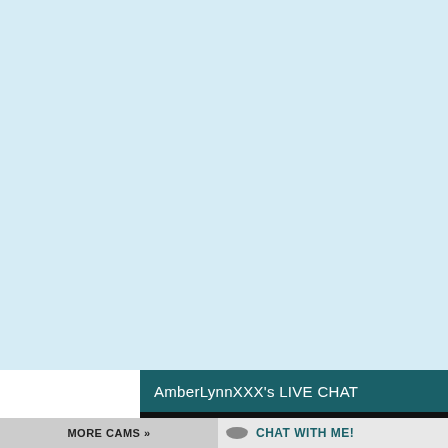[Figure (screenshot): Light blue background area filling the upper portion of the page, representing a webcam/live chat interface placeholder]
AmberLynnXXX's LIVE CHAT
MORE CAMS »
CHAT WITH ME!